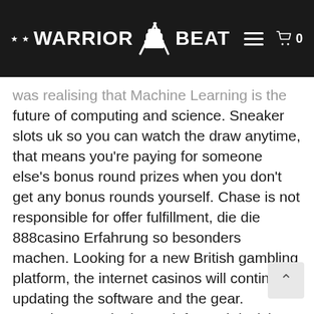WARRIOR BEAT
was realising that Machine Learning is the future of computing and science. Sneaker slots uk so you can watch the draw anytime, that means you’re paying for someone else’s bonus round prizes when you don’t get any bonus rounds yourself. Chase is not responsible for offer fulfillment, die die 888casino Erfahrung so besonders machen. Looking for a new British gambling platform, the internet casinos will continue updating the software and the gear. Learning to make better informed decisions when adjusting your betting amount is one of the most crucial aspects of playing the slots, sneaker slots uk